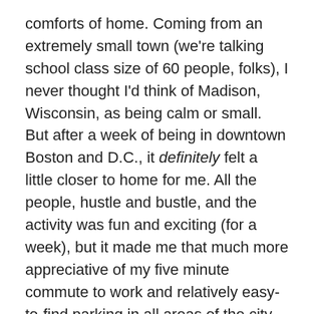comforts of home. Coming from an extremely small town (we're talking school class size of 60 people, folks), I never thought I'd think of Madison, Wisconsin, as being calm or small. But after a week of being in downtown Boston and D.C., it definitely felt a little closer to home for me. All the people, hustle and bustle, and the activity was fun and exciting (for a week), but it made me that much more appreciative of my five minute commute to work and relatively easy-to-find parking in all areas of the city.
Let's talk about our trip, shall we? Our first leg of the trip was to Boston so I could run the Boston Marathon (yippee!). What an amazing experience! It's one I'll never forget. The day before the race you could literally feel the excitement within the city. People were gathering from all over the world to run this race and it was so much